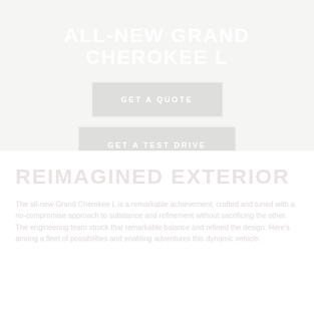ALL-NEW GRAND CHEROKEE L
GET A QUOTE
GET A TEST DRIVE
REIMAGINED EXTERIOR
The all-new Grand Cherokee L is a remarkable achievement, crafted and tuned with a no-compromise approach to substance and refinement without sacrificing the other. The engineering team struck that remarkable balance and refined the design. Here's among a fleet of possibilities and enabling adventures this dynamic vehicle.